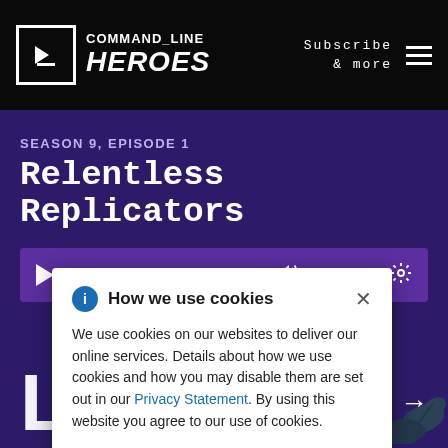[Figure (screenshot): Command Line Heroes podcast website header/navigation bar with logo on the left and 'Subscribe & more' menu on the right]
SEASON 9, EPISODE 1
Relentless Replicators
[Figure (other): Audio player bar with play button, progress bar showing 00:00, volume control, and settings icon on a purple background]
L
[Figure (illustration): Plant/leaf decoration in bottom right corner]
How we use cookies
We use cookies on our websites to deliver our online services. Details about how we use cookies and how you may disable them are set out in our Privacy Statement. By using this website you agree to our use of cookies.